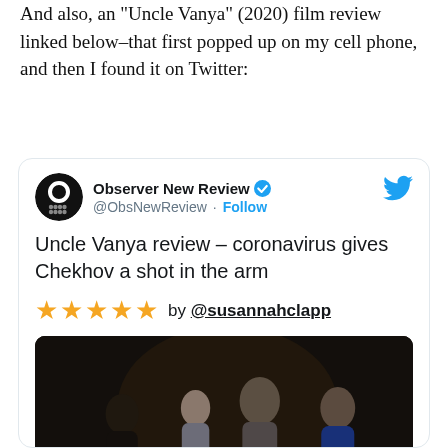And also, an "Uncle Vanya" (2020) film review linked below–that first popped up on my cell phone, and then I found it on Twitter:
[Figure (screenshot): Embedded tweet from @ObsNewReview (Observer New Review) with verified badge and Twitter bird icon. Tweet text: 'Uncle Vanya review – coronavirus gives Chekhov a shot in the arm' with 5 gold star rating and 'by @susannahclapp'. Below is a photo of three actors on a dark theatre stage, with The Observer branding bar at the bottom.]